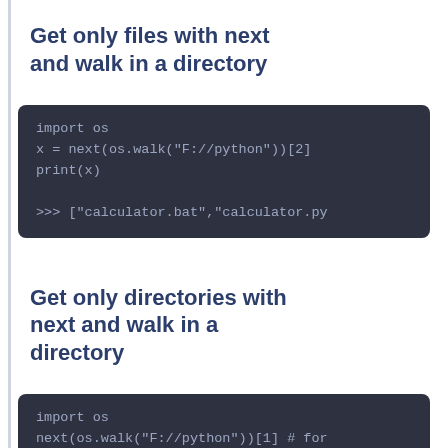Get only files with next and walk in a directory
[Figure (screenshot): Code block showing: import os
x = next(os.walk("F://python"))[2]
print(x)

>>> ["calculator.bat","calculator.py]
Get only directories with next and walk in a directory
[Figure (screenshot): Code block showing: import os
next(os.walk("F://python"))[1] # for

>>> ["python3","others"]]